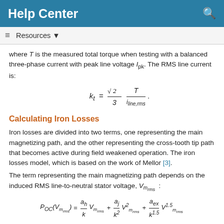Help Center
Resources
where T is the measured total torque when testing with a balanced three-phase current with peak line voltage I_pk. The RMS line current is:
Calculating Iron Losses
Iron losses are divided into two terms, one representing the main magnetizing path, and the other representing the cross-tooth tip path that becomes active during field weakened operation. The iron losses model, which is based on the work of Mellor [3].
The term representing the main magnetizing path depends on the induced RMS line-to-neutral stator voltage, V_{m_rms}: